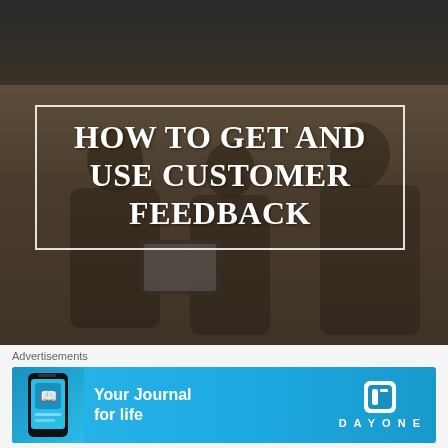[Figure (photo): Hero image with dark brownish overlay showing people looking at a tablet/device, with a title box overlay]
HOW TO GET AND USE CUSTOMER FEEDBACK
All you need to know about Customer Feedback
Advertisements
[Figure (other): Day One app advertisement banner with phone image and text 'Your Journal for life' on a blue background]